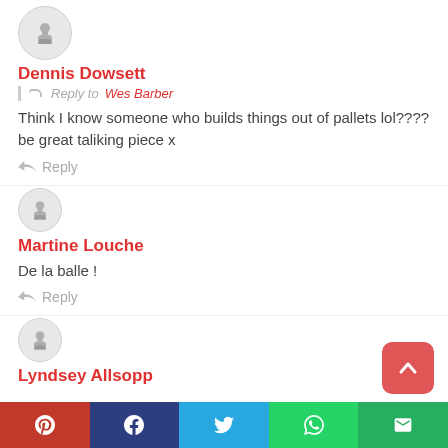Dennis Dowsett
Reply to Wes Barber
Think I know someone who builds things out of pallets lol???? be great taliking piece x
Reply
Martine Louche
De la balle !
Reply
Lyndsey Allsopp
[Figure (infographic): Social share bar with Pinterest, Facebook, Twitter, WhatsApp, and Email buttons]